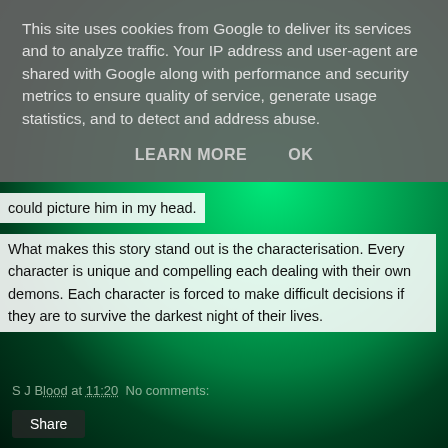[Figure (photo): Green abstract fluid or paint background, swirling dark and bright green tones]
This site uses cookies from Google to deliver its services and to analyze traffic. Your IP address and user-agent are shared with Google along with performance and security metrics to ensure quality of service, generate usage statistics, and to detect and address abuse.
LEARN MORE    OK
could picture him in my head.
What makes this story stand out is the characterisation. Every character is unique and compelling each dealing with their own demons. Each character is forced to make difficult decisions if they are to survive the darkest night of their lives.
S J Blood at 11:20   No comments:
Share